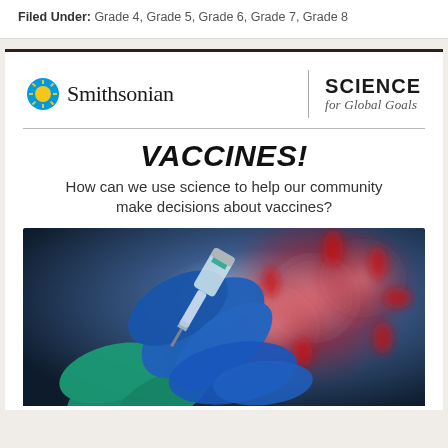Filed Under: Grade 4, Grade 5, Grade 6, Grade 7, Grade 8
[Figure (logo): Smithsonian Science for Global Goals logo with sun icon]
VACCINES!
How can we use science to help our community make decisions about vaccines?
[Figure (photo): Close-up photo of blue-gloved hands holding a vaccine vial and syringe, with a blurred colorful coronavirus illustration in the background]